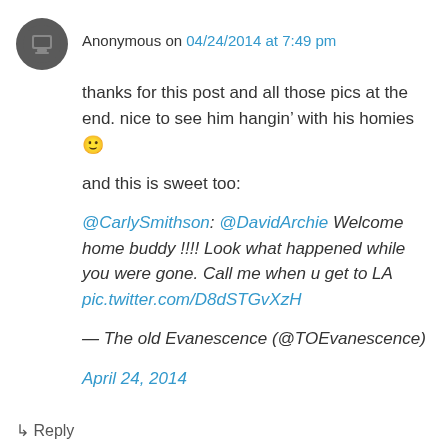Anonymous on 04/24/2014 at 7:49 pm
thanks for this post and all those pics at the end. nice to see him hangin’ with his homies 🙂
and this is sweet too:
@CarlySmithson: @DavidArchie Welcome home buddy !!!! Look what happened while you were gone. Call me when u get to LA pic.twitter.com/D8dSTGvXzH
— The old Evanescence (@TOEvanescence) April 24, 2014
↳ Reply
refpaf on 04/24/2014 at 7:54 pm